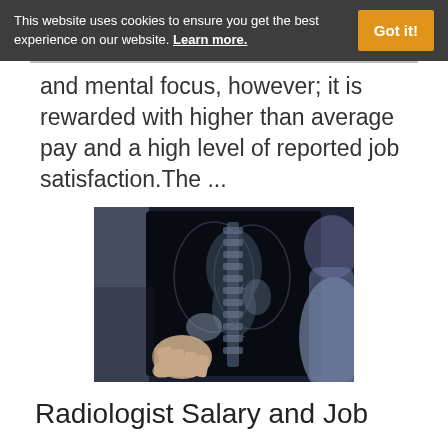This website uses cookies to ensure you get the best experience on our website. Learn more. Got it!
and mental focus, however; it is rewarded with higher than average pay and a high level of reported job satisfaction.The ...
[Figure (photo): A doctor or radiologist holding up and examining an X-ray image showing a spine/torso, viewed from behind.]
Radiologist Salary and Job